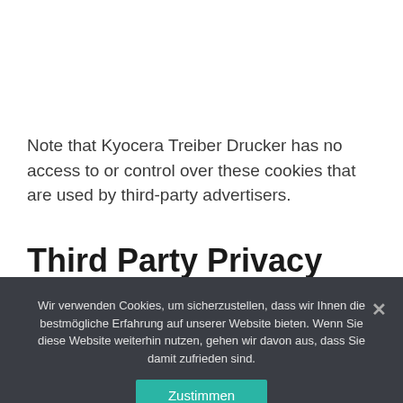Note that Kyocera Treiber Drucker has no access to or control over these cookies that are used by third-party advertisers.
Third Party Privacy Policies
Wir verwenden Cookies, um sicherzustellen, dass wir Ihnen die bestmögliche Erfahrung auf unserer Website bieten. Wenn Sie diese Website weiterhin nutzen, gehen wir davon aus, dass Sie damit zufrieden sind.